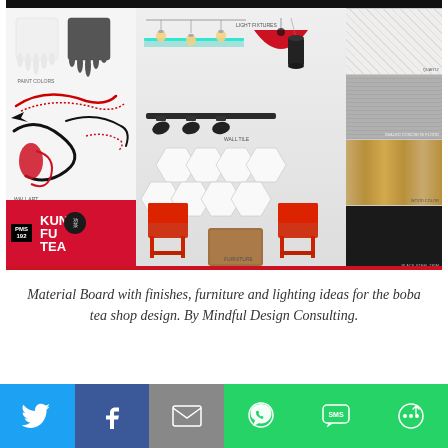[Figure (infographic): Material board for Kung Fu Tea boba shop design showing paint colors (white and dark gray drip swatches), light fixtures (Edison bulbs, red pendant, black cylinder pendant, track lights), wall tile (white hexagon), furniture (red metal chairs and wood pedestal table), and material swatches on the right (quartz, sealed concrete floor, wood color, black steel trim). Also shows wall art with Chinese dragon brush strokes and the Kung Fu Tea logo in red with PMS 192 black circle badge.]
Material Board with finishes, furniture and lighting ideas for the boba tea shop design. By Mindful Design Consulting.
[Figure (infographic): Social sharing buttons bar with Twitter (blue), Facebook (dark blue), Email (gray), WhatsApp (green), SMS (green), and More/Share (green) icons.]